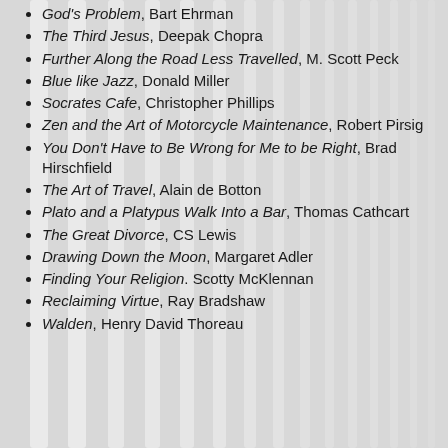God's Problem, Bart Ehrman
The Third Jesus, Deepak Chopra
Further Along the Road Less Travelled, M. Scott Peck
Blue like Jazz, Donald Miller
Socrates Cafe, Christopher Phillips
Zen and the Art of Motorcycle Maintenance, Robert Pirsig
You Don't Have to Be Wrong for Me to be Right, Brad Hirschfield
The Art of Travel, Alain de Botton
Plato and a Platypus Walk Into a Bar, Thomas Cathcart
The Great Divorce, CS Lewis
Drawing Down the Moon, Margaret Adler
Finding Your Religion. Scotty McKlennan
Reclaiming Virtue, Ray Bradshaw
Walden, Henry David Thoreau